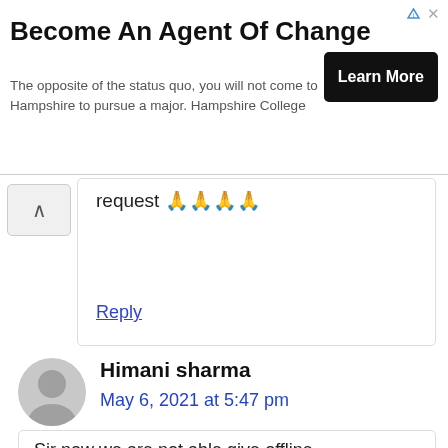[Figure (infographic): Advertisement banner: 'Become An Agent Of Change' for Hampshire College with a 'Learn More' button]
request 🙏🙏🙏🙏
Reply
Himani sharma
May 6, 2021 at 5:47 pm
Sir now we are not able give offline exam because we all are frustrated